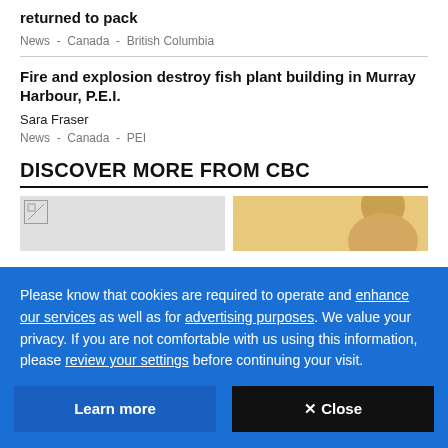returned to pack
News  -  Canada  -  British Columbia
Fire and explosion destroy fish plant building in Murray Harbour, P.E.I.
Sara Fraser
News  -  Canada  -  PEI
DISCOVER MORE FROM CBC
[Figure (photo): Thumbnail image placeholder (broken image icon)]
[Figure (photo): Thumbnail image of a person with blonde hair against a yellow background]
Please know that cookies are required to operate and enhance our services as well as for advertising purposes. We value your privacy. If you are not comfortable with us using this information, please review your settings before continuing your visit.
Learn more
✕ Close